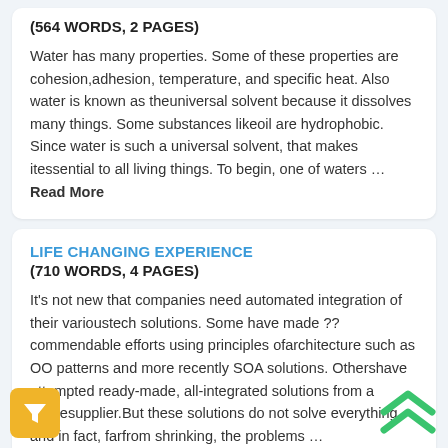(564 WORDS, 2 PAGES)
Water has many properties. Some of these properties are cohesion,adhesion, temperature, and specific heat. Also water is known as theuniversal solvent because it dissolves many things. Some substances likeoil are hydrophobic. Since water is such a universal solvent, that makes itessential to all living things. To begin, one of waters ... Read More
LIFE CHANGING EXPERIENCE
(710 WORDS, 4 PAGES)
It's not new that companies need automated integration of their varioustech solutions. Some have made ?? commendable efforts using principles ofarchitecture such as OO patterns and more recently SOA solutions. Othershave attempted ready-made, all-integrated solutions from a singlesupplier.But these solutions do not solve everything, and in fact, farfrom shrinking, the problems ... Read More